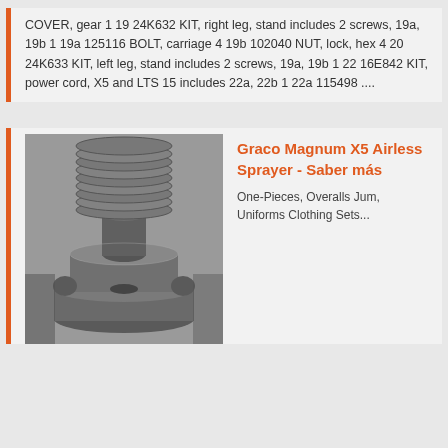COVER, gear 1 19 24K632 KIT, right leg, stand includes 2 screws, 19a, 19b 1 19a 125116 BOLT, carriage 4 19b 102040 NUT, lock, hex 4 20 24K633 KIT, left leg, stand includes 2 screws, 19a, 19b 1 22 16E842 KIT, power cord, X5 and LTS 15 includes 22a, 22b 1 22a 115498 ....
[Figure (photo): Photo of industrial metal gear/pulley components stacked together, showing circular grooved metal parts]
Graco Magnum X5 Airless Sprayer - Saber más
One-Pieces, Overalls Jum, Uniforms Clothing Sets...